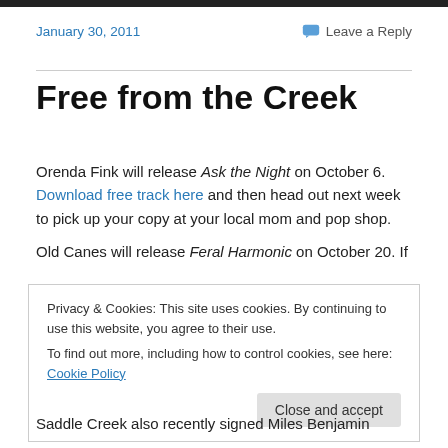January 30, 2011
Leave a Reply
Free from the Creek
Orenda Fink will release Ask the Night on October 6. Download free track here and then head out next week to pick up your copy at your local mom and pop shop.
Old Canes will release Feral Harmonic on October 20. If
Privacy & Cookies: This site uses cookies. By continuing to use this website, you agree to their use.
To find out more, including how to control cookies, see here: Cookie Policy
Close and accept
Saddle Creek also recently signed Miles Benjamin